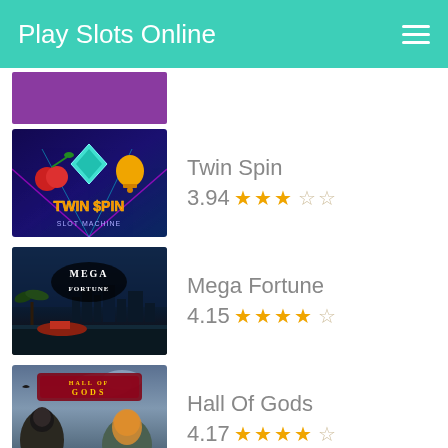Play Slots Online
[Figure (screenshot): Partially visible purple slot game image at top]
[Figure (screenshot): Twin Spin slot game thumbnail - colorful neon themed with diamond, cherry and bell symbols]
Twin Spin
3.94 ★★★☆☆
[Figure (screenshot): Mega Fortune slot game thumbnail - dark luxury themed with city skyline]
Mega Fortune
4.15 ★★★★☆
[Figure (screenshot): Hall Of Gods slot game thumbnail - Norse mythology themed]
Hall Of Gods
4.17 ★★★★☆
[Figure (screenshot): South Park slot game thumbnail - partially visible at bottom]
South Park